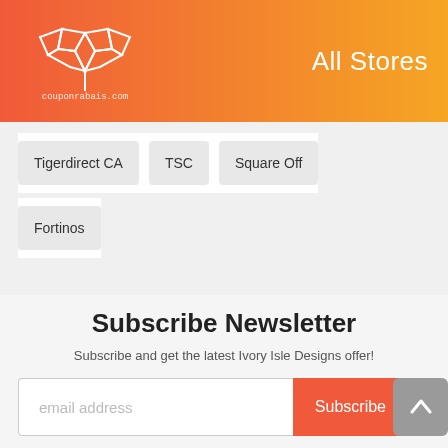couponrabais.com — All Stores
Tigerdirect CA
TSC
Square Off
Fortinos
Subscribe Newsletter
Subscribe and get the latest Ivory Isle Designs offer!